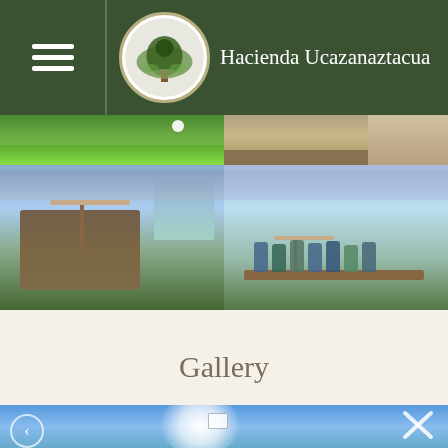Hacienda Ucazanaztacua
[Figure (photo): Photo grid showing outdoor scenes at Hacienda Ucazanaztacua: top row shows a golf course (left) and rocky landscape (right); bottom row shows a lakeside dock area with umbrella and wooden walkways (left), and people gathered on a dock by the water (right).]
Gallery
[Figure (photo): Blue sky panoramic photo at the bottom of the page, partially visible, with a bright sun glare in the center and a close button (X) in the top-right corner, and navigation arrow on the left.]